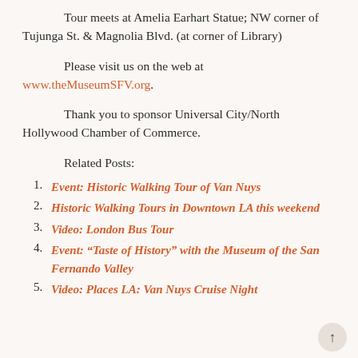Tour meets at Amelia Earhart Statue; NW corner of Tujunga St. & Magnolia Blvd. (at corner of Library)
Please visit us on the web at www.theMuseumSFV.org.
Thank you to sponsor Universal City/North Hollywood Chamber of Commerce.
Related Posts:
Event: Historic Walking Tour of Van Nuys
Historic Walking Tours in Downtown LA this weekend
Video: London Bus Tour
Event: “Taste of History” with the Museum of the San Fernando Valley
Video: Places LA: Van Nuys Cruise Night